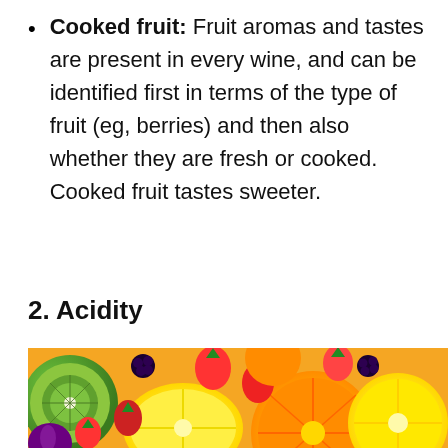Cooked fruit: Fruit aromas and tastes are present in every wine, and can be identified first in terms of the type of fruit (eg, berries) and then also whether they are fresh or cooked. Cooked fruit tastes sweeter.
2. Acidity
[Figure (photo): Colorful assortment of fresh fruits including strawberries, oranges, lemons, blackberries, kiwi, and other mixed fruits arranged together.]